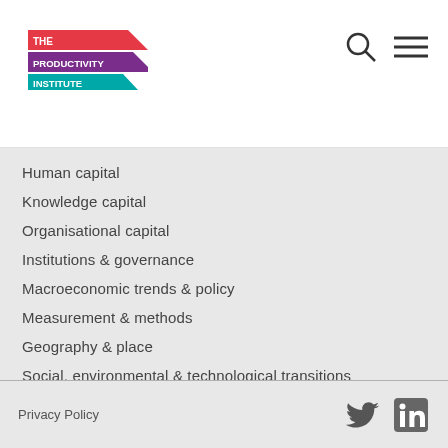The Productivity Institute
Human capital
Knowledge capital
Organisational capital
Institutions & governance
Macroeconomic trends & policy
Measurement & methods
Geography & place
Social, environmental & technological transitions
Privacy Policy